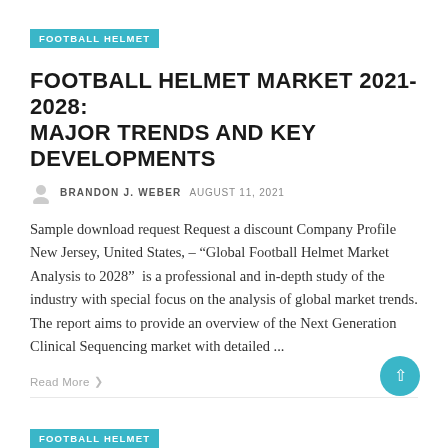FOOTBALL HELMET
FOOTBALL HELMET MARKET 2021-2028: MAJOR TRENDS AND KEY DEVELOPMENTS
BRANDON J. WEBER  AUGUST 11, 2021
Sample download request Request a discount Company Profile New Jersey, United States, – “Global Football Helmet Market Analysis to 2028”  is a professional and in-depth study of the industry with special focus on the analysis of global market trends. The report aims to provide an overview of the Next Generation Clinical Sequencing market with detailed ...
Read More
FOOTBALL HELMET